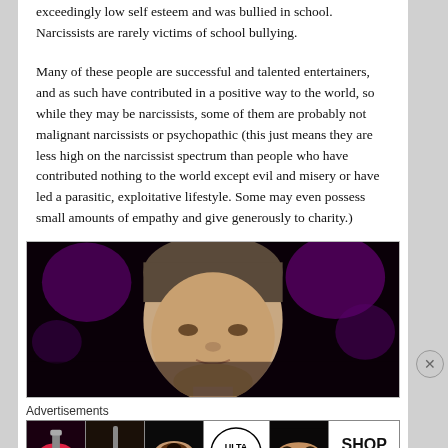exceedingly low self esteem and was bullied in school. Narcissists are rarely victims of school bullying.
Many of these people are successful and talented entertainers, and as such have contributed in a positive way to the world, so while they may be narcissists, some of them are probably not malignant narcissists or psychopathic (this just means they are less high on the narcissist spectrum than people who have contributed nothing to the world except evil and misery or have led a parasitic, exploitative lifestyle. Some may even possess small amounts of empathy and give generously to charity.)
[Figure (photo): A man's face photographed against a dark purple/bokeh background — appears to be a celebrity or public figure.]
Advertisements
[Figure (infographic): Advertisement bar showing beauty product ads including lips with lipstick, makeup brush, eye with mascara, ULTA Beauty logo, eyes with makeup, and a SHOP NOW button.]